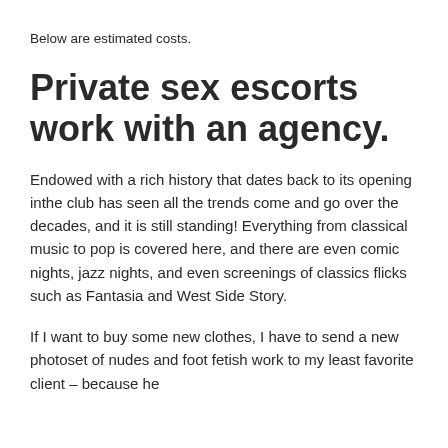Below are estimated costs.
Private sex escorts work with an agency.
Endowed with a rich history that dates back to its opening inthe club has seen all the trends come and go over the decades, and it is still standing! Everything from classical music to pop is covered here, and there are even comic nights, jazz nights, and even screenings of classics flicks such as Fantasia and West Side Story.
If I want to buy some new clothes, I have to send a new photoset of nudes and foot fetish work to my least favorite client – because he